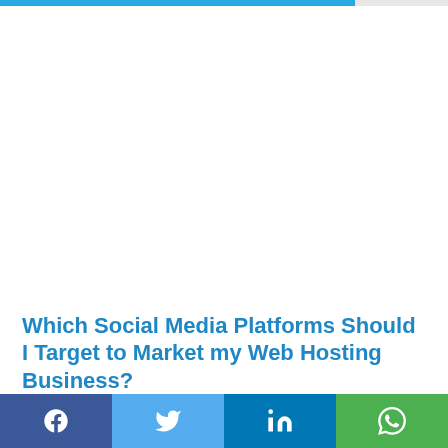Which Social Media Platforms Should I Target to Market my Web Hosting Business?
[Figure (infographic): Social media share bar with Facebook, Twitter, LinkedIn, and WhatsApp buttons at the bottom of the page]